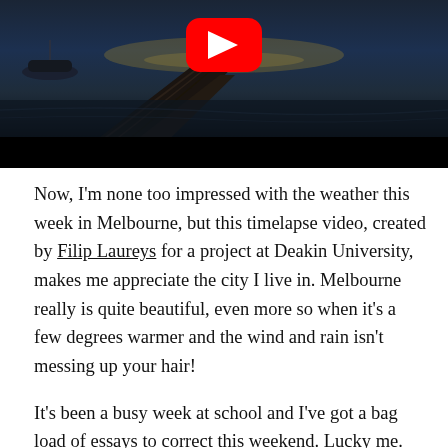[Figure (screenshot): YouTube video thumbnail showing a timelapse scene of a harbour/dock at dusk with a boat, water reflections, and a YouTube play button overlay. The lower portion of the video player is a black control bar.]
Now, I'm none too impressed with the weather this week in Melbourne, but this timelapse video, created by Filip Laureys for a project at Deakin University, makes me appreciate the city I live in. Melbourne really is quite beautiful, even more so when it's a few degrees warmer and the wind and rain isn't messing up your hair!
It's been a busy week at school and I've got a bag load of essays to correct this weekend. Lucky me. I've also convinced the two other Year 10 teachers of English that we can try out Project Based Learning for our next unit